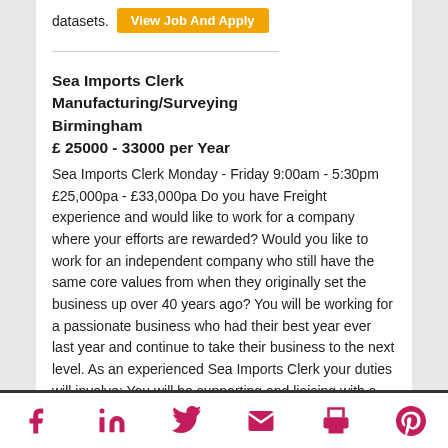datasets.
View Job And Apply
Sea Imports Clerk
Manufacturing/Surveying
Birmingham
£ 25000 - 33000 per Year
Sea Imports Clerk Monday - Friday 9:00am - 5:30pm £25,000pa - £33,000pa Do you have Freight experience and would like to work for a company where your efforts are rewarded? Would you like to work for an independent company who still have the same core values from when they originally set the business up over 40 years ago? You will be working for a passionate business who had their best year ever last year and continue to take their business to the next level. As an experienced Sea Imports Clerk your duties will involve: You will be supporting and liaising with a team of Stock
Social share icons: Facebook, LinkedIn, Twitter, Email, Print, Pinterest